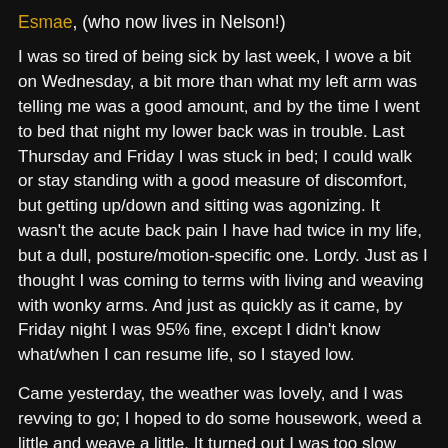Esmae, (who now lives in Nelson!)
I was so tired of being sick by last week, I wove a bit on Wednesday, a bit more than what my left arm was telling me was a good amount, and by the time I went to bed that night my lower back was in trouble. Last Thursday and Friday I was stuck in bed; I could walk or stay standing with a good measure of discomfort, but getting up/down and sitting was agonizing. It wasn't the acute back pain I have had twice in my life, but a dull, posture/motion-specific one. Lordy. Just as I thought I was coming to terms with living and weaving with wonky arms. And just as quickly as it came, by Friday night I was 95% fine, except I didn't know what/when I can resume life, so I stayed low.
Came yesterday, the weather was lovely, and I was revving to go; I hoped to do some housework, weed a little and weave a little. It turned out I was too slow with housework and I ran out of time to weed, but thought I should do one of the W's, not both, so if I hurt again I'll know what caused it. So I wove 100 picks, vacuumed the whole basement, wove another 100 picks, and had a long hot shower. At that rate, I